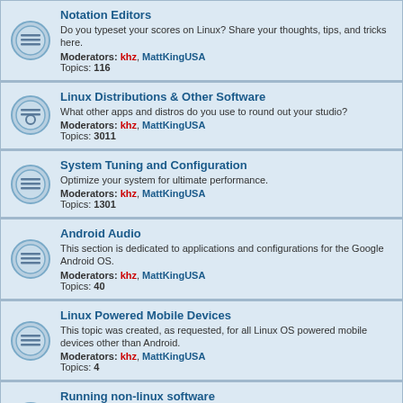Notation Editors - Do you typeset your scores on Linux? Share your thoughts, tips, and tricks here. Moderators: khz, MattKingUSA Topics: 116
Linux Distributions & Other Software - What other apps and distros do you use to round out your studio? Moderators: khz, MattKingUSA Topics: 3011
System Tuning and Configuration - Optimize your system for ultimate performance. Moderators: khz, MattKingUSA Topics: 1301
Android Audio - This section is dedicated to applications and configurations for the Google Android OS. Moderators: khz, MattKingUSA Topics: 40
Linux Powered Mobile Devices - This topic was created, as requested, for all Linux OS powered mobile devices other than Android. Moderators: khz, MattKingUSA Topics: 4
Running non-linux software - Discuss running non-Linux applications and plugins on Linux, for example via wine Moderators: khz, MattKingUSA Topics: 166
Algorithmic music